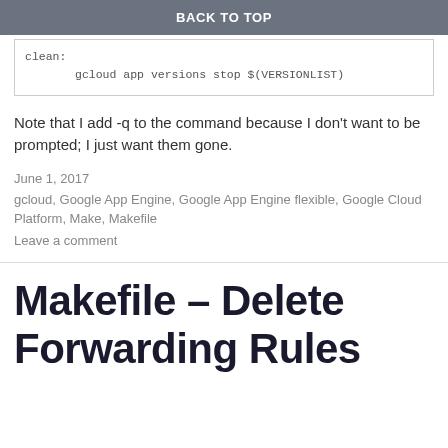BACK TO TOP
clean:
    gcloud app versions stop $(VERSIONLIST)
Note that I add -q to the command because I don't want to be prompted; I just want them gone.
June 1, 2017
gcloud, Google App Engine, Google App Engine flexible, Google Cloud Platform, Make, Makefile
Leave a comment
Makefile – Delete Forwarding Rules